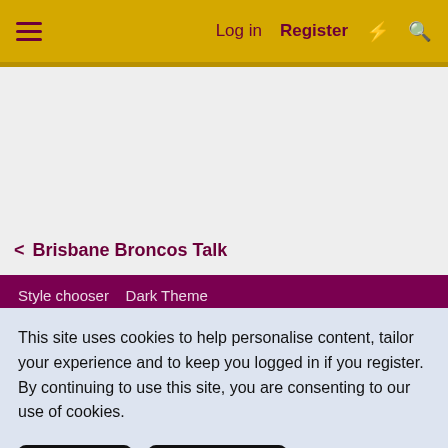Log in  Register
Brisbane Broncos Talk
Style chooser   Dark Theme
This site uses cookies to help personalise content, tailor your experience and to keep you logged in if you register. By continuing to use this site, you are consenting to our use of cookies.
Accept   Learn more...